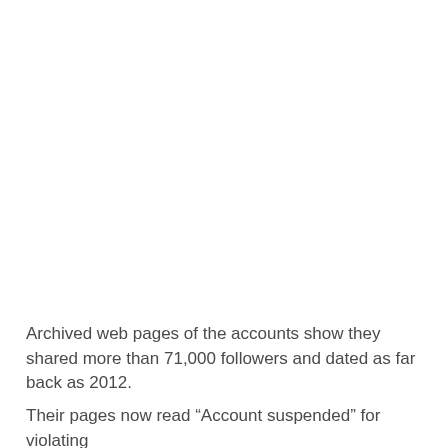Archived web pages of the accounts show they shared more than 71,000 followers and dated as far back as 2012.
Their pages now read “Account suspended” for violating